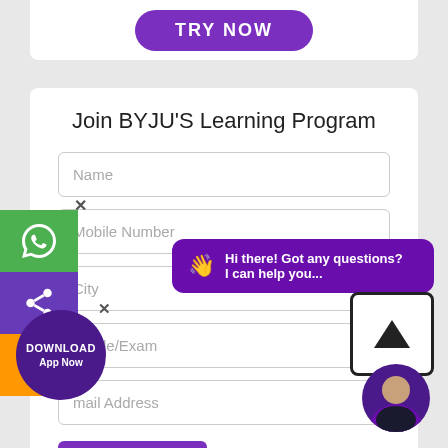[Figure (screenshot): TRY NOW purple button at top of page]
Join BYJU'S Learning Program
Name
Mobile Number
City
Grade/Exam
mail Address
Submit
[Figure (infographic): Left sidebar with WhatsApp (green), Share (purple), and Phone (orange) icons with close X button]
[Figure (infographic): Purple circular DOWNLOAD App Now badge with X close button]
[Figure (infographic): Purple chat bubble saying: Hi there! Got any questions? I can help you...]
[Figure (infographic): Scroll-up arrow button (white box with black border and up arrow)]
[Figure (photo): Round avatar of a man in suit on purple background]